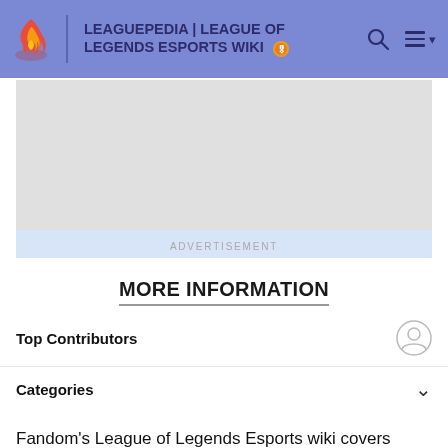LEAGUEPEDIA | LEAGUE OF LEGENDS ESPORTS WIKI
[Figure (other): Advertisement placeholder area with light blue/gray background]
ADVERTISEMENT
MORE INFORMATION
Top Contributors
Categories
Fandom's League of Legends Esports wiki covers tournaments, teams, players, and personalities in League of Legends. Pages that were modified between